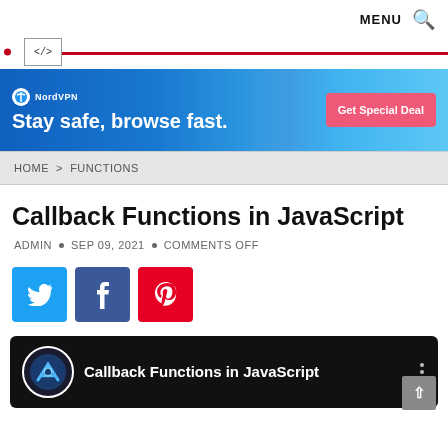MENU  🔍
[Figure (logo): Website logo with </> symbol and red horizontal line]
[Figure (photo): NordVPN advertisement banner: Stay safe, browse fast. Get Special Deal]
HOME > FUNCTIONS
Callback Functions in JavaScript
ADMIN • SEP 09, 2021 • COMMENTS OFF
[Figure (infographic): Social share buttons: Twitter, Facebook, Pinterest]
[Figure (screenshot): Video card with channel logo and title: Callback Functions in JavaScript]